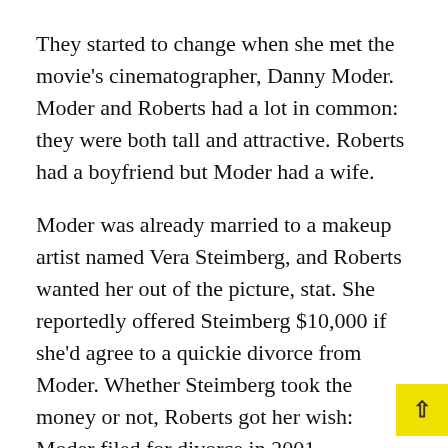They started to change when she met the movie's cinematographer, Danny Moder. Moder and Roberts had a lot in common: they were both tall and attractive. Roberts had a boyfriend but Moder had a wife.
Moder was already married to a makeup artist named Vera Steimberg, and Roberts wanted her out of the picture, stat. She reportedly offered Steimberg $10,000 if she'd agree to a quickie divorce from Moder. Whether Steimberg took the money or not, Roberts got her wish: Moder filed for divorce in 2001.
Roberts was seen wearing a handmade shirt that said “A Low Vera.” People quickly wondered if it